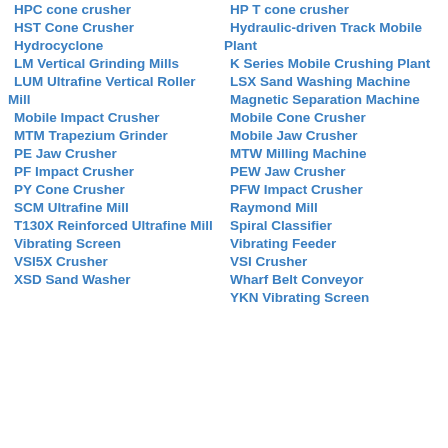HPC cone crusher
HP T cone crusher
HST Cone Crusher
Hydraulic-driven Track Mobile Plant
Hydrocyclone
K Series Mobile Crushing Plant
LM Vertical Grinding Mills
LSX Sand Washing Machine
LUM Ultrafine Vertical Roller Mill
Magnetic Separation Machine
Mobile Cone Crusher
Mobile Impact Crusher
Mobile Jaw Crusher
MTM Trapezium Grinder
MTW Milling Machine
PE Jaw Crusher
PEW Jaw Crusher
PF Impact Crusher
PFW Impact Crusher
PY Cone Crusher
Raymond Mill
SCM Ultrafine Mill
Spiral Classifier
T130X Reinforced Ultrafine Mill
Vibrating Feeder
Vibrating Screen
VSI Crusher
VSI5X Crusher
Wharf Belt Conveyor
XSD Sand Washer
YKN Vibrating Screen